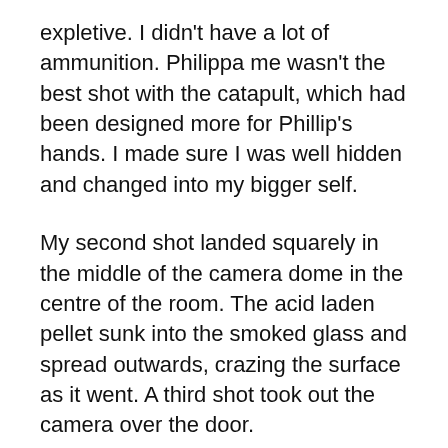expletive. I didn't have a lot of ammunition. Philippa me wasn't the best shot with the catapult, which had been designed more for Phillip's hands. I made sure I was well hidden and changed into my bigger self.
My second shot landed squarely in the middle of the camera dome in the centre of the room. The acid laden pellet sunk into the smoked glass and spread outwards, crazing the surface as it went. A third shot took out the camera over the door.
My next two shots were with my little gun in Philippa mode. Smaller hands fit the makeshift pistol much better, and the girly me seemed to be more coordinated as well as small enough to